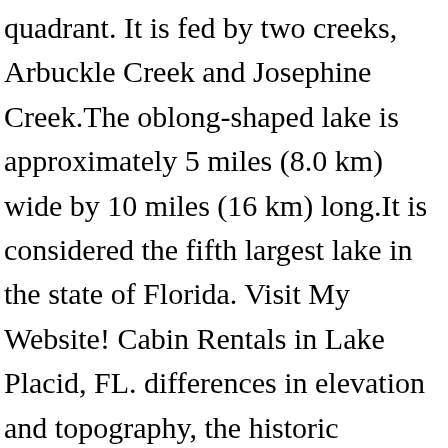quadrant. It is fed by two creeks, Arbuckle Creek and Josephine Creek.The oblong-shaped lake is approximately 5 miles (8.0 km) wide by 10 miles (16 km) long.It is considered the fifth largest lake in the state of Florida. Visit My Website! Cabin Rentals in Lake Placid, FL. differences in elevation and topography, the historic weather at the two separate locations larger. Please use this site to learn more about the plan, to find reports, about the process by which the plan was created, and for additional resources and documents about this and the Dist of...